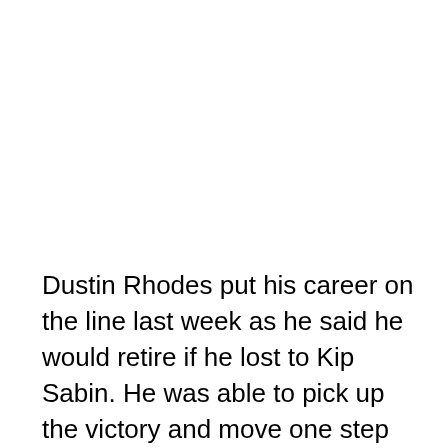Dustin Rhodes put his career on the line last week as he said he would retire if he lost to Kip Sabin. He was able to pick up the victory and move one step closer